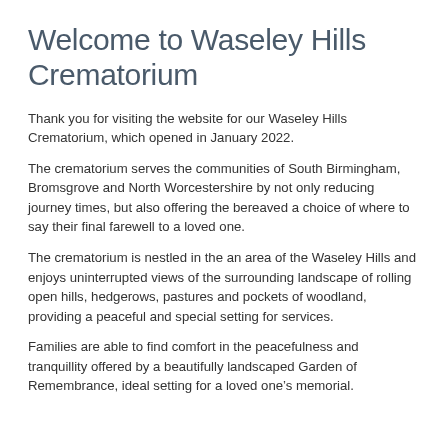Welcome to Waseley Hills Crematorium
Thank you for visiting the website for our Waseley Hills Crematorium, which opened in January 2022.
The crematorium serves the communities of South Birmingham, Bromsgrove and North Worcestershire by not only reducing journey times, but also offering the bereaved a choice of where to say their final farewell to a loved one.
The crematorium is nestled in the an area of the Waseley Hills and enjoys uninterrupted views of the surrounding landscape of rolling open hills, hedgerows, pastures and pockets of woodland, providing a peaceful and special setting for services.
Families are able to find comfort in the peacefulness and tranquillity offered by a beautifully landscaped Garden of Remembrance, ideal setting for a loved one's memorial.